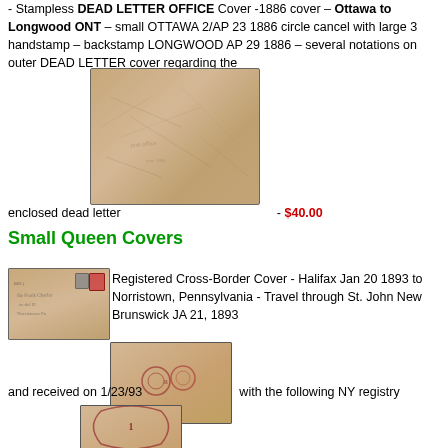- Stampless DEAD LETTER OFFICE Cover -1886 cover – Ottawa to Longwood ONT – small OTTAWA 2/AP 23 1886 circle cancel with large 3 handstamp – backstamp LONGWOOD AP 29 1886 – several notations on outer DEAD LETTER cover regarding the
[Figure (photo): Photograph of a crumpled Dead Letter Office envelope/cover from 1886]
enclosed dead letter - $40.00
Small Queen Covers
[Figure (photo): Small photograph of a registered cross-border cover front, Halifax 1893]
Registered Cross-Border Cover - Halifax Jan 20 1893 to Norristown, Pennsylvania - Travel through St. John New Brunswick JA 21, 1893
[Figure (photo): Photograph of the back of a registered envelope showing cancels]
and received on 1/23/93 with the following NY registry
[Figure (photo): Photograph showing a NY registry stamp/cancel detail]